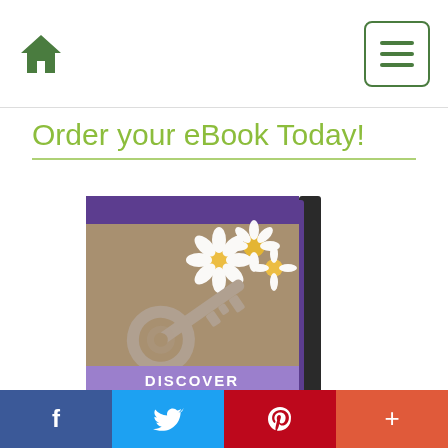Navigation bar with home icon and menu button
Order your eBook Today!
[Figure (photo): Book cover showing a key and daisies with text 'DISCOVER 7 Ways Your Soul Holds the Key to Living Your Purpose']
Social sharing bar with Facebook, Twitter, Pinterest, and Plus buttons